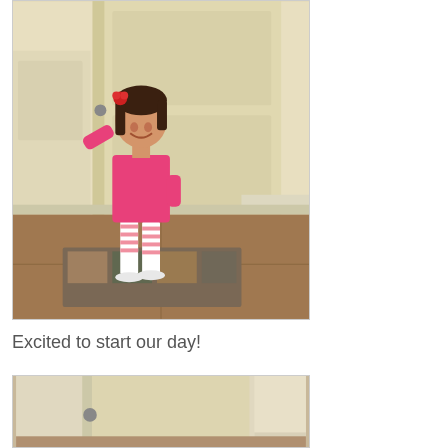[Figure (photo): Young girl in a pink jacket and pink-and-white striped leggings standing on a decorative rug by a white front door, smiling at the camera. She has a red flower hair clip and white shoes.]
Excited to start our day!
[Figure (photo): Partial view of the same white front door area, cropped at bottom of page.]